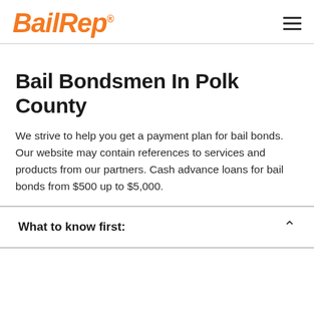BailRep®
Bail Bondsmen In Polk County
We strive to help you get a payment plan for bail bonds. Our website may contain references to services and products from our partners. Cash advance loans for bail bonds from $500 up to $5,000.
What to know first: